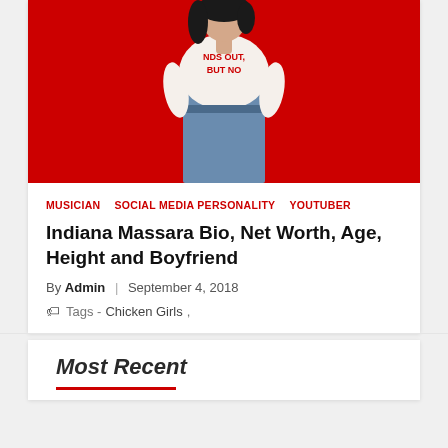[Figure (photo): Young woman with dark hair wearing a white t-shirt with red text 'NDS OUT BUT NO', blue jeans, standing against a red background]
MUSICIAN   SOCIAL MEDIA PERSONALITY   YOUTUBER
Indiana Massara Bio, Net Worth, Age, Height and Boyfriend
By Admin | September 4, 2018
Tags - Chicken Girls,
Most Recent